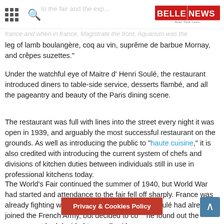BELLENEWS — Read. Think. Learn.
leg of lamb boulangère, coq au vin, suprême de barbue Mornay, and crêpes suzettes."
Under the watchful eye of Maitre d' Henri Soulé, the restaurant introduced diners to table-side service, desserts flambé, and all the pageantry and beauty of the Paris dining scene.
The restaurant was full with lines into the street every night it was open in 1939, and arguably the most successful restaurant on the grounds. As well as introducing the public to "haute cuisine," it is also credited with introducing the current system of chefs and divisions of kitchen duties between individuals still in use in professional kitchens today.
The World's Fair continued the summer of 1940, but World War had started and attendance to the fair fell off sharply. France was already fighting with Germany. Maitre d' Henri Soulé had already joined the French Army, but decided to co... he found out the government had decided t... er all, with a